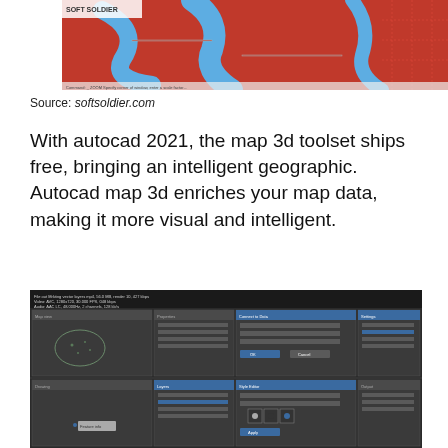[Figure (screenshot): Screenshot of AutoCAD Map 3D showing a red and blue map with roads and waterways, with 'SOFT SOLDIER' watermark in top left corner]
Source: softsoldier.com
With autocad 2021, the map 3d toolset ships free, bringing an intelligent geographic. Autocad map 3d enriches your map data, making it more visual and intelligent.
[Figure (screenshot): Screenshot of a video or software tutorial showing multiple AutoCAD dialog windows and map editing panels arranged in a grid layout]